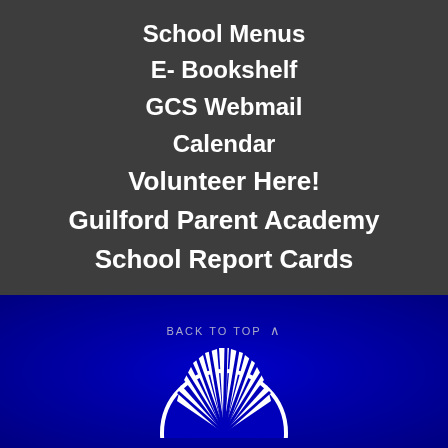School Menus
E- Bookshelf
GCS Webmail
Calendar
Volunteer Here!
Guilford Parent Academy
School Report Cards
BACK TO TOP
[Figure (logo): Guilford County Schools sunburst logo in white on blue background]